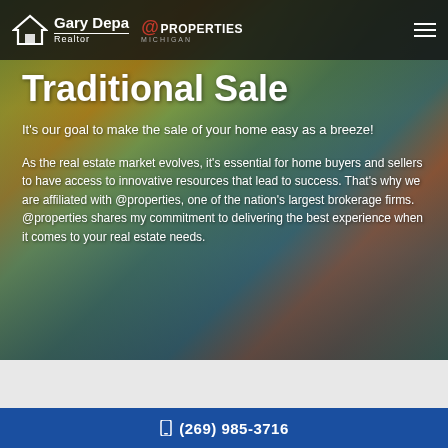Gary Depa | @properties Michigan — Realtor
Traditional Sale
It's our goal to make the sale of your home easy as a breeze!
As the real estate market evolves, it's essential for home buyers and sellers to have access to innovative resources that lead to success. That's why we are affiliated with @properties, one of the nation's largest brokerage firms. @properties shares my commitment to delivering the best experience when it comes to your real estate needs.
(269) 985-3716